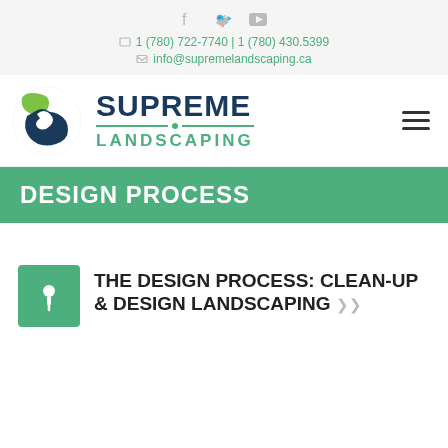Social icons: f, twitter, youtube
☏ 1 (780) 722-7740 | 1 (780) 430.5399
✉ info@supremelandscaping.ca
[Figure (logo): Supreme Landscaping logo with green and blue S-shaped swirl and text SUPREME LANDSCAPING]
DESIGN PROCESS
THE DESIGN PROCESS: CLEAN-UP & DESIGN LANDSCAPING